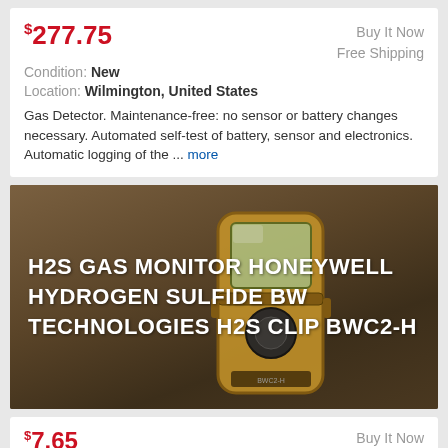$277.75
Buy It Now
Free Shipping
Condition: New
Location: Wilmington, United States
Gas Detector. Maintenance-free: no sensor or battery changes necessary. Automated self-test of battery, sensor and electronics. Automatic logging of the ... more
[Figure (photo): H2S Gas Monitor - Honeywell Hydrogen Sulfide BW Technologies H2S Clip BWC2-H device photo with white text overlay]
$7.65
Buy It Now
$18.86 Shipping